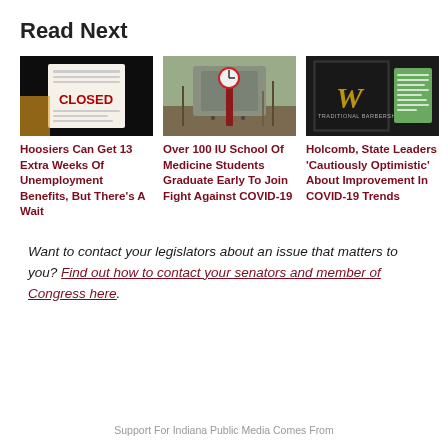Read Next
[Figure (photo): Sign on a door with red text reading CLOSED]
[Figure (photo): Outdoor campus scene with a red clock tower and bare trees]
[Figure (photo): Window of a Traditional Barbershop with a green notice posted]
Hoosiers Can Get 13 Extra Weeks Of Unemployment Benefits, But There's A Wait
Over 100 IU School Of Medicine Students Graduate Early To Join Fight Against COVID-19
Holcomb, State Leaders 'Cautiously Optimistic' About Improvement In COVID-19 Trends
Want to contact your legislators about an issue that matters to you? Find out how to contact your senators and member of Congress here.
Support For Indiana Public Media Comes From